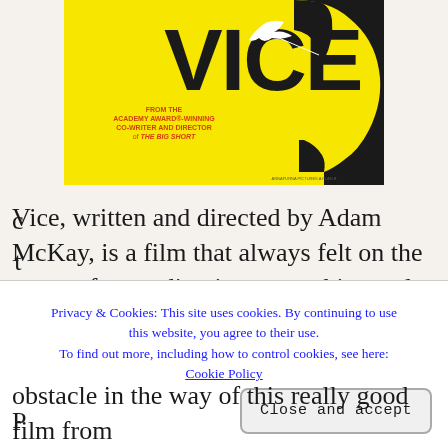[Figure (illustration): Movie poster for VICE — yellow background with large bold black text 'VICE', silhouette of a person's head in black on the right, white bird/dove near the head, smaller text reads 'FROM THE ACADEMY AWARD-WINNING CO-WRITER AND DIRECTOR of THE BIG SHORT']
Vice, written and directed by Adam McKay, is a film that always felt on the verge of ascending into something truly incredible; something that completely captivated you... and that's all because
Privacy & Cookies: This site uses cookies. By continuing to use this website, you agree to their use.
To find out more, including how to control cookies, see here:
Cookie Policy
Close and accept
obstacle in the way of this really good film from